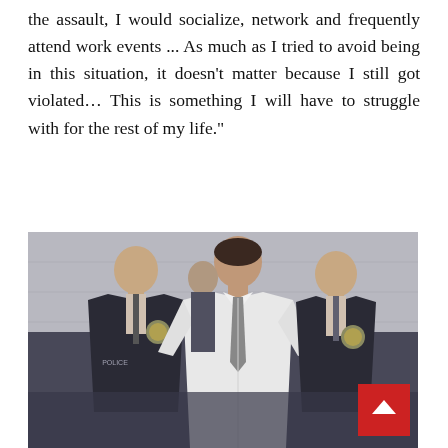Another victim stated in part, "Before the assault, I would socialize, network and frequently attend work events ... As much as I tried to avoid being in this situation, it doesn't matter because I still got violated... This is something I will have to struggle with for the rest of my life."
[Figure (photo): Photo of three men walking, two wearing dark police/law enforcement jackets with badges, and one man in a white dress shirt in the middle, appearing to be in custody]